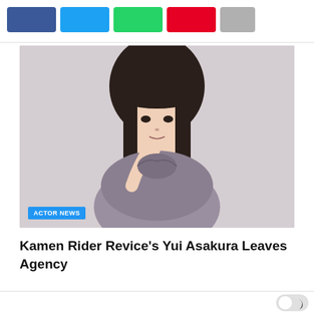[Figure (infographic): Row of five social share buttons: Facebook (dark blue), Twitter (light blue), WhatsApp (green), Pinterest (red), More (gray)]
[Figure (photo): Young Japanese woman with long dark hair wearing a gray floral high-neck ruffled dress, hand near chin, against a light background. Badge reading ACTOR NEWS overlaid at bottom left.]
Kamen Rider Revice's Yui Asakura Leaves Agency
[Figure (photo): Bottom strip showing two partial thumbnail images: a dark/black image on the left and a Kamen Rider helmet image on the right, with a dark-mode toggle switch.]